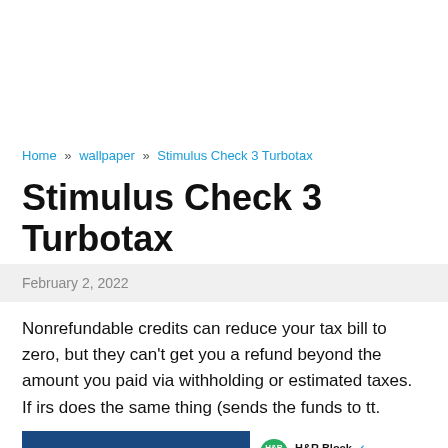Home » wallpaper » Stimulus Check 3 Turbotax
Stimulus Check 3 Turbotax
February 2, 2022
Nonrefundable credits can reduce your tax bill to zero, but they can't get you a refund beyond the amount you paid via withholding or estimated taxes. If irs does the same thing (sends the funds to tt.
[Figure (screenshot): Screenshot of an H&R Block tweet. Left side is dark blue with a white bracket icon. Right side shows H&R Block verified Twitter account with text: H&R Block understands stimulus checks are vitally important for millions of Americans. The IRS determines]